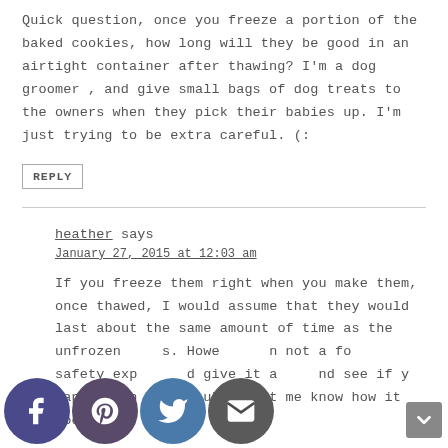Quick question, once you freeze a portion of the baked cookies, how long will they be good in an airtight container after thawing? I'm a dog groomer , and give small bags of dog treats to the owners when they pick their babies up. I'm just trying to be extra careful. (:
REPLY
heather says
January 27, 2015 at 12:03 am
If you freeze them right when you make them, once thawed, I would assume that they would last about the same amount of time as the unfrozen s. Howe n not a fo safety exp d give it a nd see if y happy with the results. Let me know how it goes!